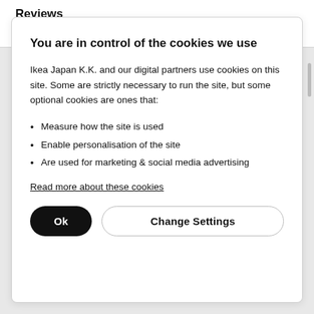Reviews
★★★★☆ (5)
You are in control of the cookies we use
Ikea Japan K.K. and our digital partners use cookies on this site. Some are strictly necessary to run the site, but some optional cookies are ones that:
Measure how the site is used
Enable personalisation of the site
Are used for marketing & social media advertising
Read more about these cookies
Ok   Change Settings